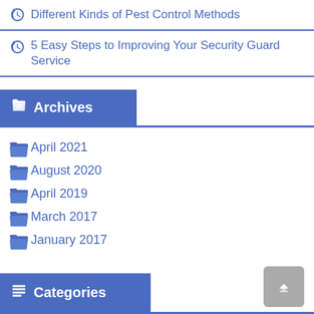Different Kinds of Pest Control Methods
5 Easy Steps to Improving Your Security Guard Service
Archives
April 2021
August 2020
April 2019
March 2017
January 2017
Categories